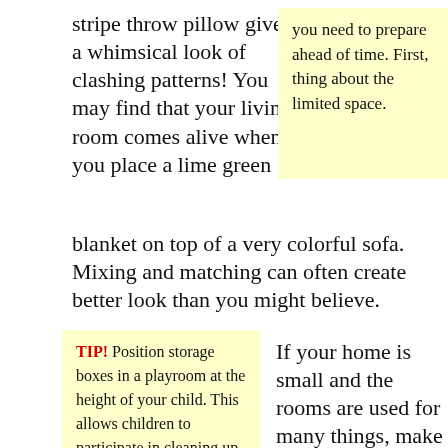stripe throw pillow gives a whimsical look of clashing patterns! You may find that your living room comes alive when you place a lime green blanket on top of a very colorful sofa. Mixing and matching can often create better look than you might believe.
you need to prepare ahead of time. First, thing about the limited space.
TIP! Position storage boxes in a playroom at the height of your child. This allows children to participate in cleaning up and they could organize
If your home is small and the rooms are used for many things, make sure to use furniture and accessories that will work easily and well together. A lot of houses use living and dining rooms that